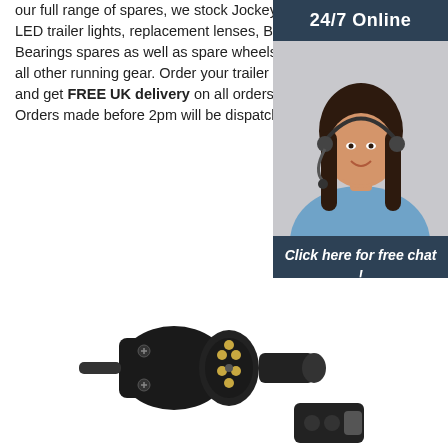our full range of spares, we stock Jockey Wheels, LED trailer lights, replacement lenses, Brake & Bearings spares as well as spare wheels, tyres and all other running gear. Order your trailer parts today and get FREE UK delivery on all orders over £95. Orders made before 2pm will be dispatched the ...
[Figure (other): Orange 'Get Price' button]
[Figure (other): Sidebar with '24/7 Online' header in dark blue, photo of a woman wearing a headset, 'Click here for free chat!' text, and an orange 'QUOTATION' button]
[Figure (photo): Photo of a black plastic trailer electrical connector plug and socket, with metal contacts visible]